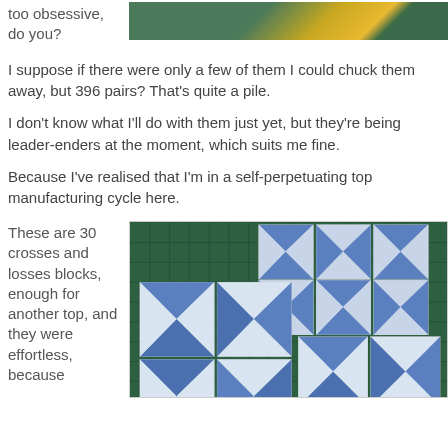too obsessive, do you?
[Figure (photo): Partial view of a quilt project on a green cutting mat, top portion visible]
I suppose if there were only a few of them I could chuck them away, but 396 pairs? That's quite a pile.
I don't know what I'll do with them just yet, but they're being leader-enders at the moment, which suits me fine.
Because I've realised that I'm in a self-perpetuating top manufacturing cycle here.
These are 30 crosses and losses blocks, enough for another top, and they were effortless, because
[Figure (photo): Blue and white quilt blocks arranged on a dark green cutting mat, showing crosses and losses pattern]